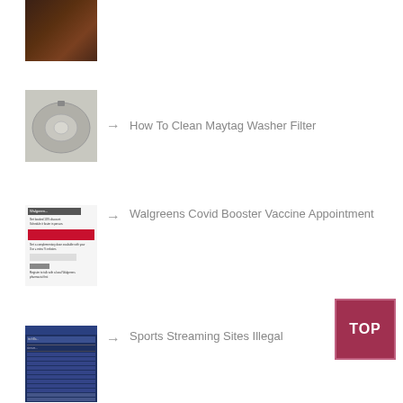[Figure (photo): Partial view of first list item thumbnail - dark brownish image]
[Figure (photo): Washer filter - white/grey circular washer lid]
→ How To Clean Maytag Washer Filter
[Figure (screenshot): Walgreens Covid Booster Vaccine Appointment page screenshot]
→ Walgreens Covid Booster Vaccine Appointment
[Figure (screenshot): Sports streaming site screenshot with table of sports content]
→ Sports Streaming Sites Illegal